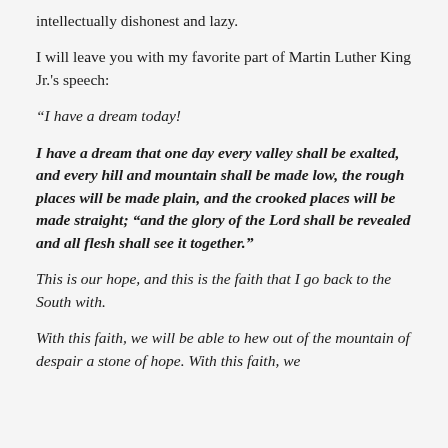intellectually dishonest and lazy.
I will leave you with my favorite part of Martin Luther King Jr.'s speech:
“I have a dream today!
I have a dream that one day every valley shall be exalted, and every hill and mountain shall be made low, the rough places will be made plain, and the crooked places will be made straight; “and the glory of the Lord shall be revealed and all flesh shall see it together.”
This is our hope, and this is the faith that I go back to the South with.
With this faith, we will be able to hew out of the mountain of despair a stone of hope. With this faith, we